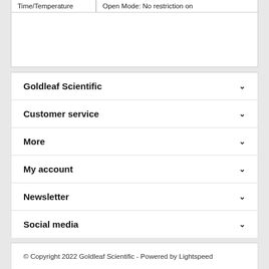| Time/Temperature | Open Mode: No restriction on |
| --- | --- |
Goldleaf Scientific
Customer service
More
My account
Newsletter
Social media
© Copyright 2022 Goldleaf Scientific - Powered by Lightspeed
[Figure (other): Payment method icons: BANK, credit card, Mastercard, VISA, American Express, Discover, PayPal, safe/coins]